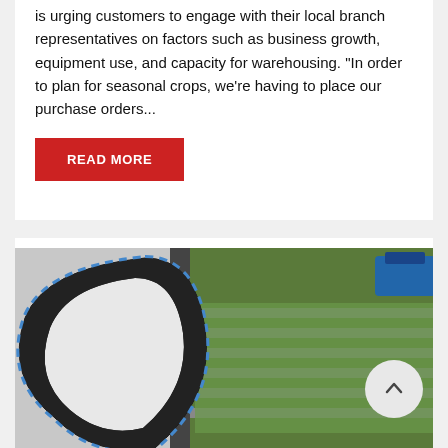is urging customers to engage with their local branch representatives on factors such as business growth, equipment use, and capacity for warehousing. “In order to plan for seasonal crops, we’re having to place our purchase orders...
READ MORE
[Figure (photo): Composite image showing a black and blue toothed timing/drive belt on the left overlapping with an agricultural conveyor system carrying green seedlings/crops on the right]